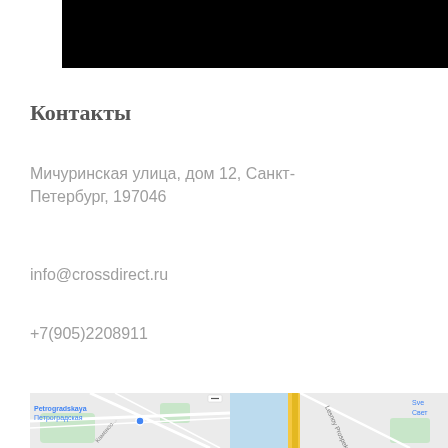[Figure (other): Black header bar at top of page]
Контакты
Мичуринская улица, дом 12, Санкт-Петербург, 197046
info@crossdirect.ru
+7(905)2208911
[Figure (map): Google Maps snippet showing Petrogradskaya / Петроградская area of Saint Petersburg with street labels: Petrogradskaya, Петроградская, Lesnoy Prospekt, Kamennoostrovsky, Svet]